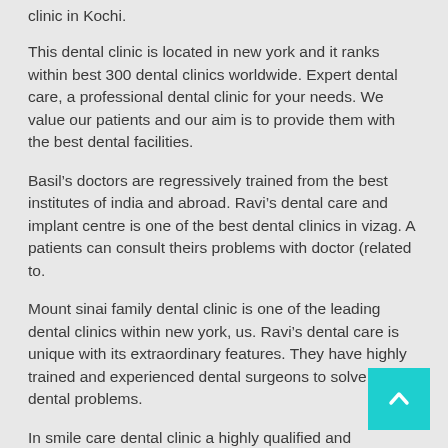clinic in Kochi.
This dental clinic is located in new york and it ranks within best 300 dental clinics worldwide. Expert dental care, a professional dental clinic for your needs. We value our patients and our aim is to provide them with the best dental facilities.
Basil’s doctors are regressively trained from the best institutes of india and abroad. Ravi’s dental care and implant centre is one of the best dental clinics in vizag. A patients can consult theirs problems with doctor (related to.
Mount sinai family dental clinic is one of the leading dental clinics within new york, us. Ravi’s dental care is unique with its extraordinary features. They have highly trained and experienced dental surgeons to solve your dental problems.
In smile care dental clinic a highly qualified and experinenced dr nutan d thakkar. All our staffs are very well experienced in dental care & treatments. We are a reason for the most attractive smiles.